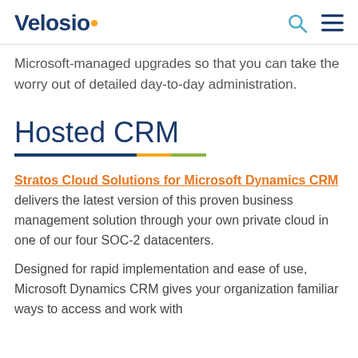Velosio
Microsoft-managed upgrades so that you can take the worry out of detailed day-to-day administration.
Hosted CRM
Stratos Cloud Solutions for Microsoft Dynamics CRM delivers the latest version of this proven business management solution through your own private cloud in one of our four SOC-2 datacenters.
Designed for rapid implementation and ease of use, Microsoft Dynamics CRM gives your organization familiar ways to access and work with